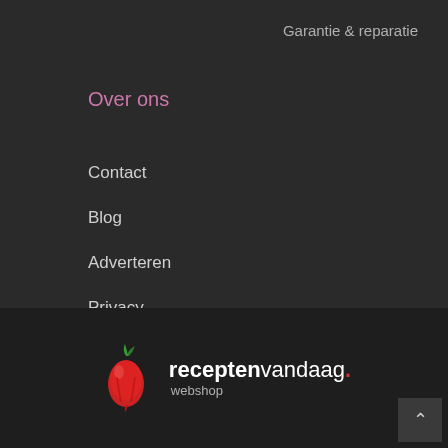Garantie & reparatie
Over ons
Contact
Blog
Adverteren
Privacy
Disclaimer
[Figure (logo): Receptenvandaag webshop logo with red pepper icon and brand text 'receptenvandaag. webshop']